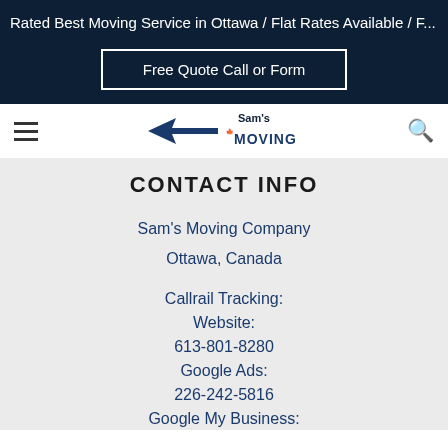Rated Best Moving Service in Ottawa / Flat Rates Available / F...
Free Quote Call or Form
[Figure (logo): Sam's Moving company logo with maple leaf and arrow graphic]
CONTACT INFO
Sam's Moving Company
Ottawa, Canada
Callrail Tracking:
Website:
613-801-8280
Google Ads:
226-242-5816
Google My Business: